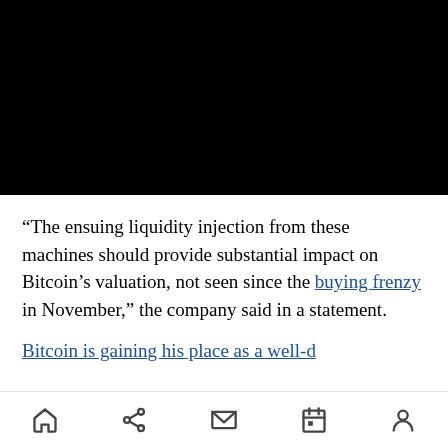[Figure (photo): A black rectangular image, likely a video thumbnail or redacted/blank image area]
“The ensuing liquidity injection from these machines should provide substantial impact on Bitcoin’s valuation, not seen since the buying frenzy in November,” the company said in a statement.
Bitcoin is gaining...
Navigation icons: home, share, mail, calendar, profile